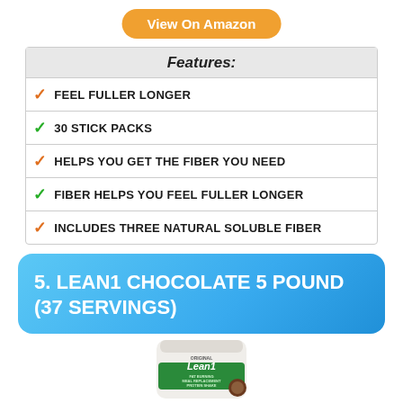View On Amazon
Features:
FEEL FULLER LONGER
30 STICK PACKS
HELPS YOU GET THE FIBER YOU NEED
FIBER HELPS YOU FEEL FULLER LONGER
INCLUDES THREE NATURAL SOLUBLE FIBER
5. LEAN1 CHOCOLATE 5 POUND (37 SERVINGS)
[Figure (photo): Lean1 Original Fat Burning Meal Replacement Protein Shake white bag with green label]